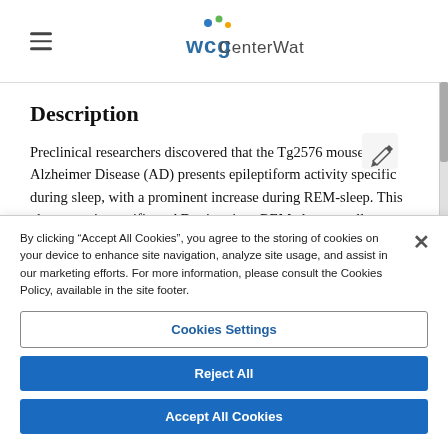WCG CenterWatch
Description
Preclinical researchers discovered that the Tg2576 mouse model of Alzheimer Disease (AD) presents epileptiform activity specifically during sleep, with a prominent increase during REM-sleep. This phenotype is specific to AD mice since REM-sleep usually prevents seizures and epileptiform activity in animal models of epilepsy.
By clicking “Accept All Cookies”, you agree to the storing of cookies on your device to enhance site navigation, analyze site usage, and assist in our marketing efforts. For more information, please consult the Cookies Policy, available in the site footer.
Cookies Settings
Reject All
Accept All Cookies